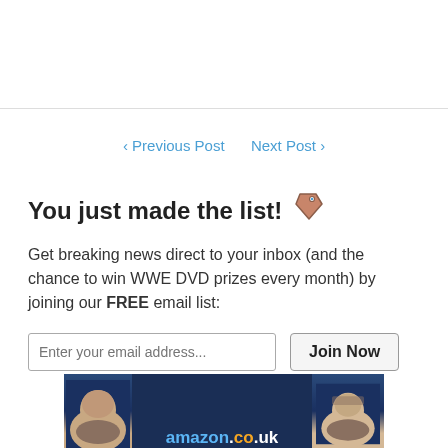[Figure (other): White space area at top with a horizontal divider line at bottom]
‹ Previous Post   Next Post ›
You just made the list! 🏷️
Get breaking news direct to your inbox (and the chance to win WWE DVD prizes every month) by joining our FREE email list:
[Figure (other): Email signup form with input field 'Enter your email address...' and 'Join Now' button]
[Figure (other): Amazon.co.uk advertisement banner with two wrestler faces and amazon.co.uk branding]